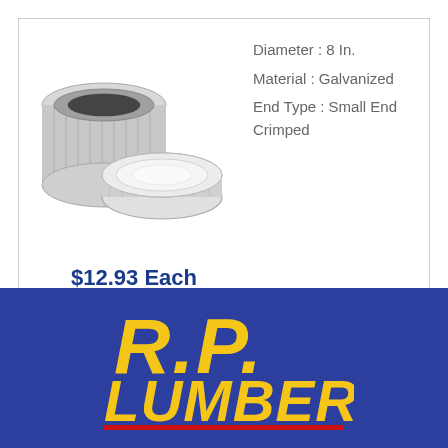[Figure (photo): Galvanized round duct cap, 8 inch diameter, small end crimped, shown from two angles (side and top view)]
$12.93 Each
Diameter : 8 In.
Material : Galvanized
End Type : Small End Crimped
[Figure (logo): R.P. Lumber logo — yellow text on dark blue background with red underline]